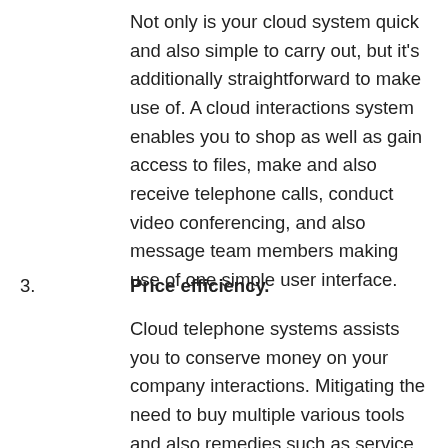Not only is your cloud system quick and also simple to carry out, but it's additionally straightforward to make use of. A cloud interactions system enables you to shop as well as gain access to files, make and also receive telephone calls, conduct video conferencing, and also message team members making use of one simple user interface.
3. Price efficiency. Cloud telephone systems assists you to conserve money on your company interactions. Mitigating the need to buy multiple various tools and also remedies such as service SMS, video fax, conferencing and file storage space, as well as cloud interactions consolidate multiple platforms' prices right into one solitary cost. What's even more, with cloud telephony, you won't